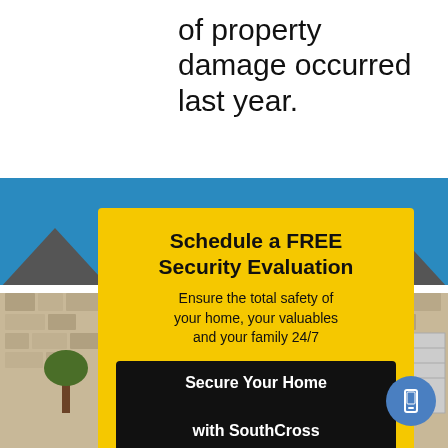of property damage occurred last year.
[Figure (photo): House with stone facade and trees under blue sky background]
Schedule a FREE Security Evaluation
Ensure the total safety of your home, your valuables and your family 24/7
Secure Your Home with SouthCross Today!